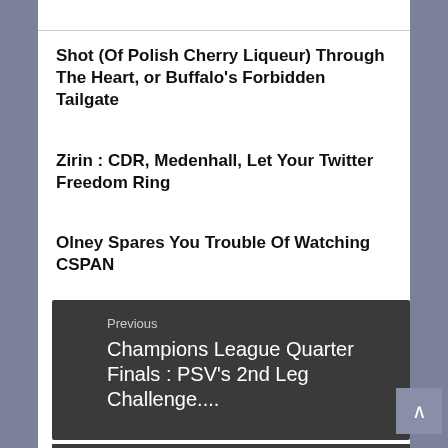Shot (Of Polish Cherry Liqueur) Through The Heart, or Buffalo's Forbidden Tailgate
Zirin : CDR, Medenhall, Let Your Twitter Freedom Ring
Olney Spares You Trouble Of Watching CSPAN
Previous
Champions League Quarter Finals : PSV's 2nd Leg Challenge....
Next
Lennon On Randolph's Leash